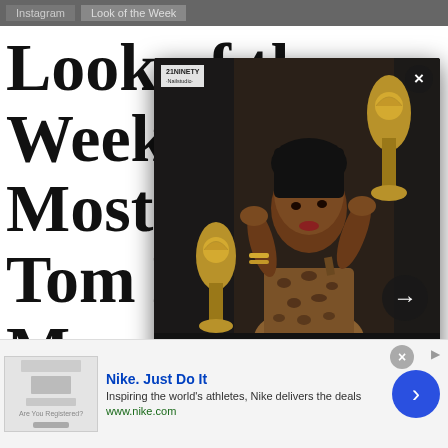Instagram   Look of the Week
Look of the Week(Top 5 Most Instagram in Tom Michel in Marques Almeida,
[Figure (photo): Popup overlay showing a woman in leopard print dress posing with Grammy trophies, with caption 'New $et An Ode To MeganThee Stallion'sNails- 21Ninety']
“New $et” An Ode To MeganThee Stallion’sNails- 21Ninety
Nike. Just Do It
Inspiring the world's athletes, Nike delivers the deals
www.nike.com